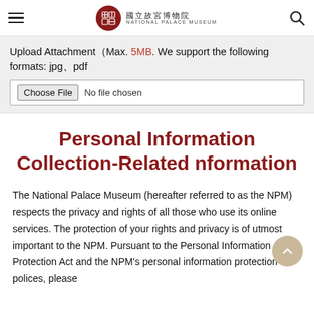National Palace Museum header with logo
Upload Attachment（Max. 5MB. We support the following formats: jpg、pdf
[Figure (screenshot): File input box with Choose File button and No file chosen text]
Personal Information Collection-Related nformation
The National Palace Museum (hereafter referred to as the NPM) respects the privacy and rights of all those who use its online services. The protection of your rights and privacy is of utmost important to the NPM. Pursuant to the Personal Information Protection Act and the NPM's personal information protection polices, please